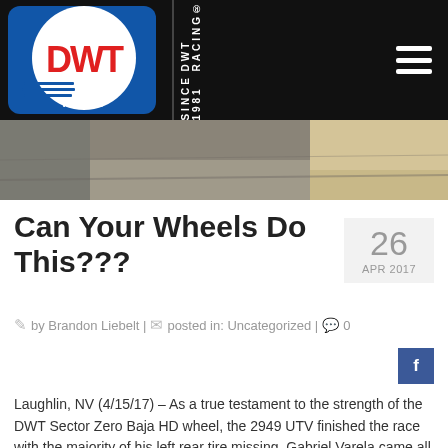DWT Racing Since 1981 — Douglas Wheel
[Figure (photo): Outdoor ground/dirt surface photo strip below the logo header]
Can Your Wheels Do This???
26 APR 2017
by Brandon Liebelt | posted in: Uncategorized | 0
Laughlin, NV (4/15/17) – As a true testament to the strength of the DWT Sector Zero Baja HD wheel, the 2949 UTV finished the race with the majority of his left rear tire missing. Gabriel Varela came all the way … Read More